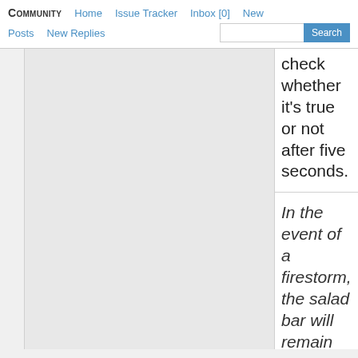Community  Home  Issue Tracker  Inbox [0]  New  Posts  New Replies  Search
check whether it's true or not after five seconds.
In the event of a firestorm, the salad bar will remain open.